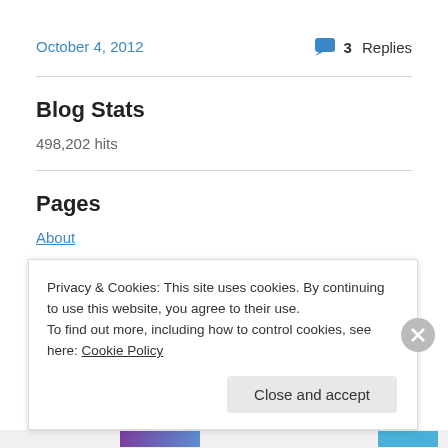October 4, 2012
3 Replies
Blog Stats
498,202 hits
Pages
About
Privacy & Cookies: This site uses cookies. By continuing to use this website, you agree to their use.
To find out more, including how to control cookies, see here: Cookie Policy
Close and accept